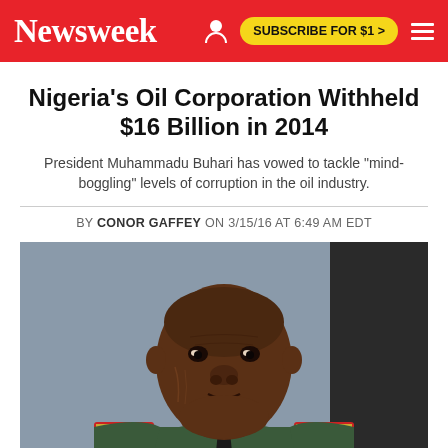Newsweek | SUBSCRIBE FOR $1 >
Nigeria's Oil Corporation Withheld $16 Billion in 2014
President Muhammadu Buhari has vowed to tackle "mind-boggling" levels of corruption in the oil industry.
BY CONOR GAFFEY ON 3/15/16 AT 6:49 AM EDT
[Figure (photo): Portrait photo of a Nigerian military general in green uniform with red and gold epaulettes and a dark tie, looking directly at camera.]